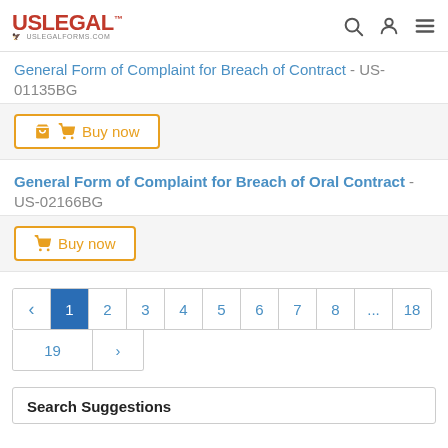USLegal - uslegalforms.com
General Form of Complaint for Breach of Contract - US-01135BG
Buy now
General Form of Complaint for Breach of Oral Contract - US-02166BG
Buy now
Pagination: ‹ 1 2 3 4 5 6 7 8 ... 18 19 ›
Search Suggestions